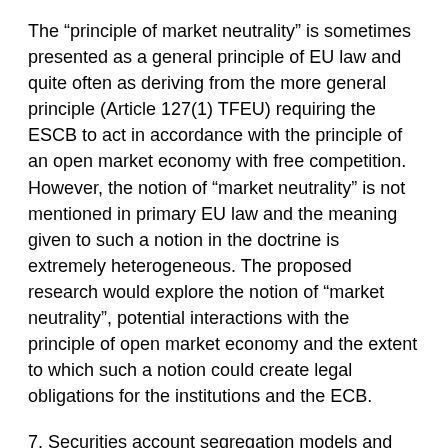The “principle of market neutrality” is sometimes presented as a general principle of EU law and quite often as deriving from the more general principle (Article 127(1) TFEU) requiring the ESCB to act in accordance with the principle of an open market economy with free competition. However, the notion of “market neutrality” is not mentioned in primary EU law and the meaning given to such a notion in the doctrine is extremely heterogeneous. The proposed research would explore the notion of “market neutrality”, potential interactions with the principle of open market economy and the extent to which such a notion could create legal obligations for the institutions and the ECB.
7. Securities account segregation models and practices in the EU: is there a ‘right’ and a ‘wrong’ approach for Europe’s CSDs to follow?